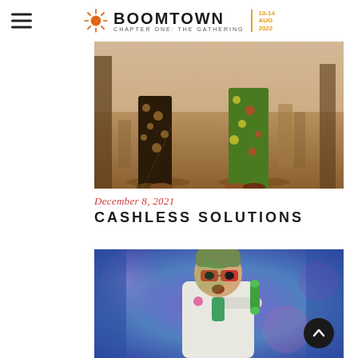Boomtown — Chapter One: The Gathering | 10-14 AUG 2022
[Figure (photo): Outdoor festival scene showing lower bodies and legs of people walking in colourful patterned trousers on sandy ground with wooden poles.]
December 8, 2021
CASHLESS SOLUTIONS
[Figure (photo): Person in white suit and red glasses holding a green telephone handset, lit with purple and blue stage lighting.]